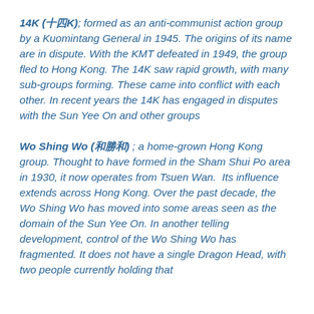14K (十四K); formed as an anti-communist action group by a Kuomintang General in 1945. The origins of its name are in dispute. With the KMT defeated in 1949, the group fled to Hong Kong. The 14K saw rapid growth, with many sub-groups forming. These came into conflict with each other. In recent years the 14K has engaged in disputes with the Sun Yee On and other groups
Wo Shing Wo (和勝和) ; a home-grown Hong Kong group. Thought to have formed in the Sham Shui Po area in 1930, it now operates from Tsuen Wan. Its influence extends across Hong Kong. Over the past decade, the Wo Shing Wo has moved into some areas seen as the domain of the Sun Yee On. In another telling development, control of the Wo Shing Wo has fragmented. It does not have a single Dragon Head, with two people currently holding that